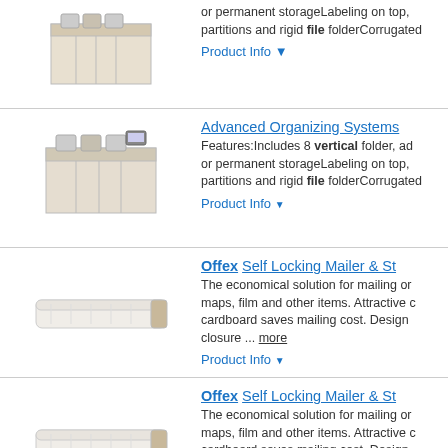[Figure (photo): Product image of a file organizer box (partial, top of page)]
or permanent storageLabeling on top, partitions and rigid file folderCorrugated
Product Info ▼
Advanced Organizing Systems
[Figure (photo): Product image of Advanced Organizing Systems file organizer]
Features:Includes 8 vertical folder, ad or permanent storageLabeling on top, partitions and rigid file folderCorrugated
Product Info ▼
Offex Self Locking Mailer & St
[Figure (photo): Product image of Offex Self Locking Mailer]
The economical solution for mailing or maps, film and other items. Attractive cardboard saves mailing cost. Design closure ... more
Product Info ▼
Offex Self Locking Mailer & St
[Figure (photo): Product image of Offex Self Locking Mailer]
The economical solution for mailing or maps, film and other items. Attractive cardboard saves mailing cost. Design closure ... more
Product Info ▼
Offex Self Locking Mailer & St
[Figure (photo): Product image of Offex Self Locking Mailer (partial, bottom of page)]
The economical solution for mailing or maps, film and other items. Attractive cardboard saves mailing cost. Design